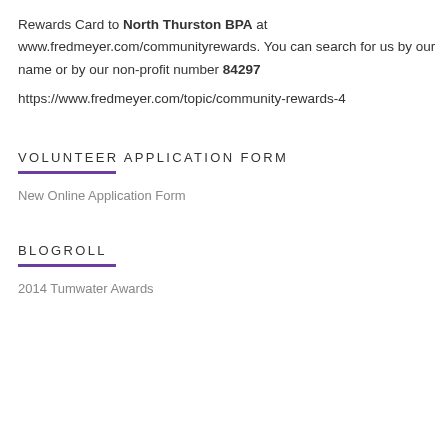Rewards Card to North Thurston BPA at www.fredmeyer.com/communityrewards. You can search for us by our name or by our non-profit number 84297
https://www.fredmeyer.com/topic/community-rewards-4
VOLUNTEER APPLICATION FORM
New Online Application Form
BLOGROLL
2014 Tumwater Awards